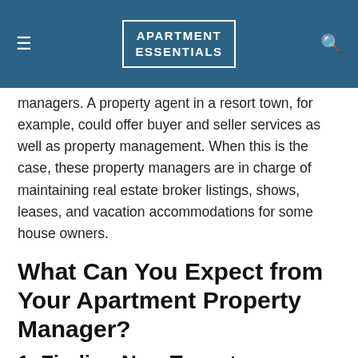APARTMENT ESSENTIALS
managers. A property agent in a resort town, for example, could offer buyer and seller services as well as property management. When this is the case, these property managers are in charge of maintaining real estate broker listings, shows, leases, and vacation accommodations for some house owners.
What Can You Expect from Your Apartment Property Manager?
1. Finding New Tenants
Tenant management is often one of the tasks of a